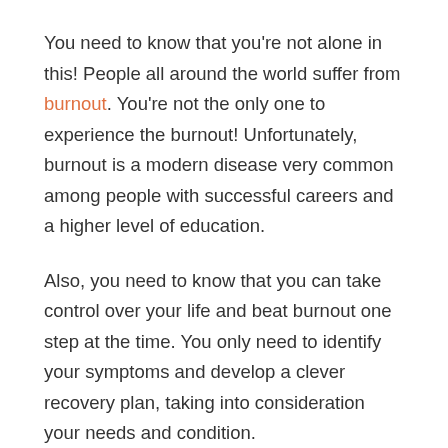You need to know that you're not alone in this! People all around the world suffer from burnout. You're not the only one to experience the burnout! Unfortunately, burnout is a modern disease very common among people with successful careers and a higher level of education.
Also, you need to know that you can take control over your life and beat burnout one step at the time. You only need to identify your symptoms and develop a clever recovery plan, taking into consideration your needs and condition.
Burnout Recovery Steps – Phases